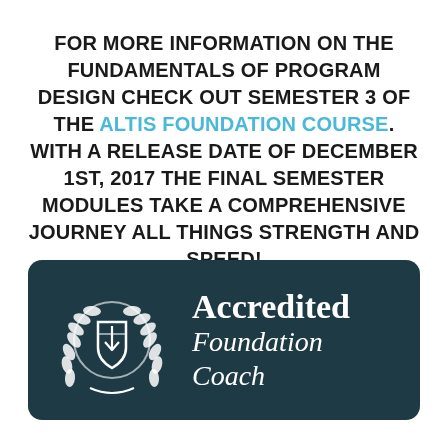FOR MORE INFORMATION ON THE FUNDAMENTALS OF PROGRAM DESIGN CHECK OUT SEMESTER 3 OF THE ALTIS FOUNDATION COURSE. WITH A RELEASE DATE OF DECEMBER 1ST, 2017 THE FINAL SEMESTER MODULES TAKE A COMPREHENSIVE JOURNEY ALL THINGS STRENGTH AND SPEED!
[Figure (logo): Accredited Foundation Coach badge on dark teal background with laurel wreath shield logo]